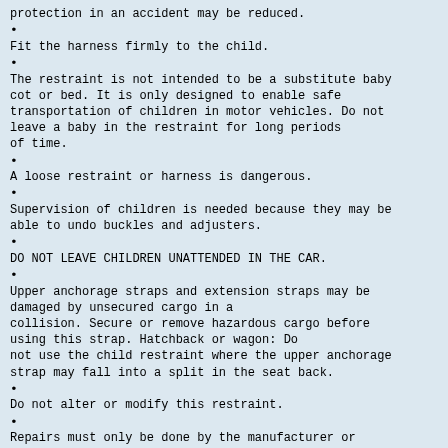protection in an accident may be reduced.
Fit the harness firmly to the child.
The restraint is not intended to be a substitute baby cot or bed. It is only designed to enable safe transportation of children in motor vehicles. Do not leave a baby in the restraint for long periods of time.
A loose restraint or harness is dangerous.
Supervision of children is needed because they may be able to undo buckles and adjusters.
DO NOT LEAVE CHILDREN UNATTENDED IN THE CAR.
Upper anchorage straps and extension straps may be damaged by unsecured cargo in a collision. Secure or remove hazardous cargo before using this strap. Hatchback or wagon: Do not use the child restraint where the upper anchorage strap may fall into a split in the seat back.
Do not alter or modify this restraint.
Repairs must only be done by the manufacturer or agent.
Protect all webbing from abrasion and cutting by sharp corners and edges.
Do not allow the restraint to come into contact with